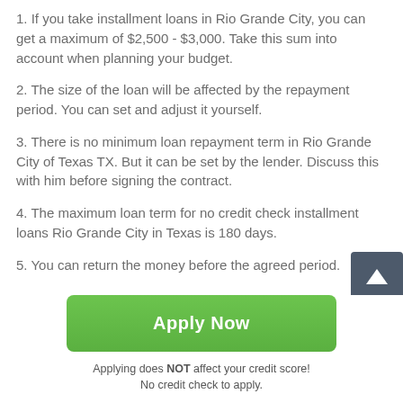1. If you take installment loans in Rio Grande City, you can get a maximum of $2,500 - $3,000. Take this sum into account when planning your budget.
2. The size of the loan will be affected by the repayment period. You can set and adjust it yourself.
3. There is no minimum loan repayment term in Rio Grande City of Texas TX. But it can be set by the lender. Discuss this with him before signing the contract.
4. The maximum loan term for no credit check installment loans Rio Grande City in Texas is 180 days.
5. You can return the money before the agreed period.
Apply Now
Applying does NOT affect your credit score!
No credit check to apply.